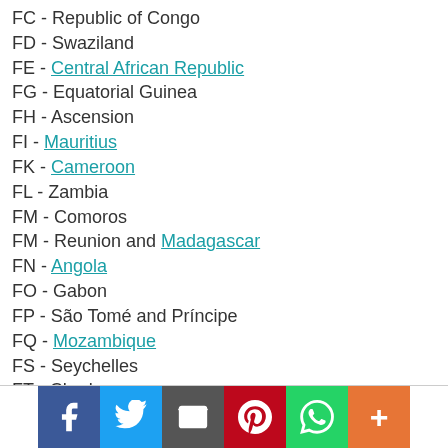FC - Republic of Congo
FD - Swaziland
FE - Central African Republic
FG - Equatorial Guinea
FH - Ascension
FI - Mauritius
FK - Cameroon
FL - Zambia
FM - Comoros
FM - Reunion and Madagascar
FN - Angola
FO - Gabon
FP - São Tomé and Príncipe
FQ - Mozambique
FS - Seychelles
FT - Chad
FV - Zimbabwe
FW - Malawi
FY - Namibia
FX - Lesotho
FZ - Democratic Republic of Congo